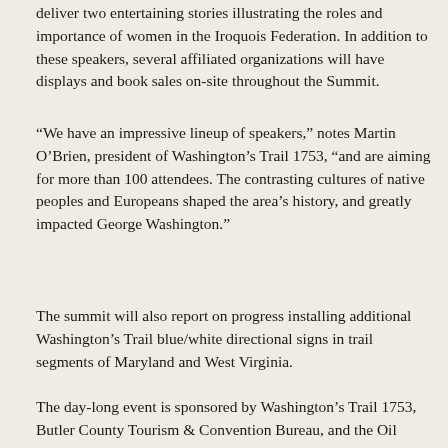deliver two entertaining stories illustrating the roles and importance of women in the Iroquois Federation. In addition to these speakers, several affiliated organizations will have displays and book sales on-site throughout the Summit.
“We have an impressive lineup of speakers,” notes Martin O’Brien, president of Washington’s Trail 1753, “and are aiming for more than 100 attendees. The contrasting cultures of native peoples and Europeans shaped the area’s history, and greatly impacted George Washington.”
The summit will also report on progress installing additional Washington’s Trail blue/white directional signs in trail segments of Maryland and West Virginia.
The day-long event is sponsored by Washington’s Trail 1753, Butler County Tourism & Convention Bureau, and the Oil Region Alliance.
BROUGHT TO YOU BY:
Washington's Trail - 1753
[Figure (map): Google Maps screenshot showing a road map with Map/Satellite toggle buttons visible, and a location marker near McBride Sta with roads including North Dr, T463, and East D visible.]